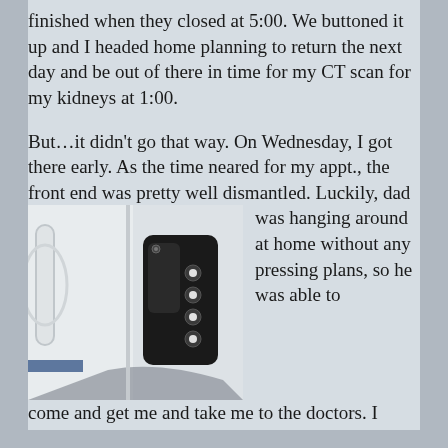finished when they closed at 5:00. We buttoned it up and I headed home planning to return the next day and be out of there in time for my CT scan for my kidneys at 1:00.
But…it didn't go that way. On Wednesday, I got there early. As the time neared for my appt., the front end was pretty well dismantled. Luckily, dad was hanging around at home without any pressing plans, so he was able to come and get me and take me to the doctors. I
[Figure (photo): Close-up photo of an RV or vehicle door latch/lock mechanism. Shows a black keypad entry device with circular buttons mounted next to a white door frame with a white handle visible on the left side.]